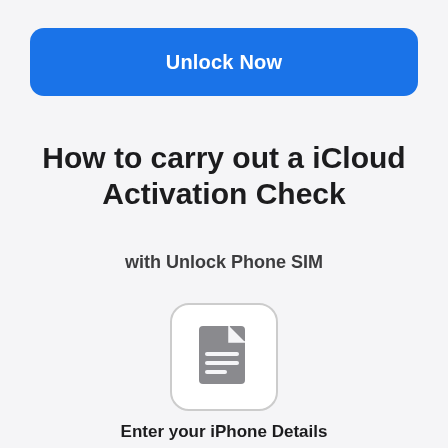[Figure (screenshot): Blue rounded rectangle button with white bold text 'Unlock Now']
How to carry out a iCloud Activation Check
with Unlock Phone SIM
[Figure (illustration): Gray document icon with folded corner and horizontal lines, inside a rounded square border]
Enter your iPhone Details